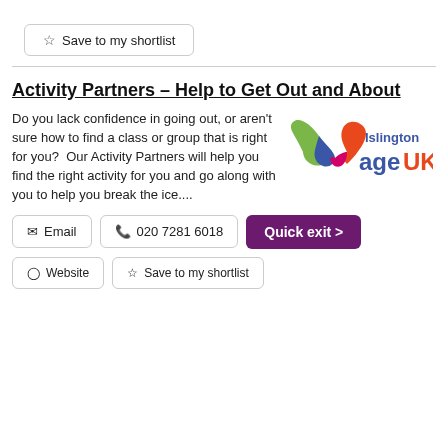☆ Save to my shortlist
Activity Partners – Help to Get Out and About
Do you lack confidence in going out, or aren't sure how to find a class or group that is right for you?  Our Activity Partners will help you find the right activity for you and go along with you to help you break the ice....
[Figure (logo): Islington Age UK logo with colourful ribbon/infinity symbol and bold text]
✉ Email
📞 020 7281 6018
Quick exit >
🌐 Website
☆ Save to my shortlist